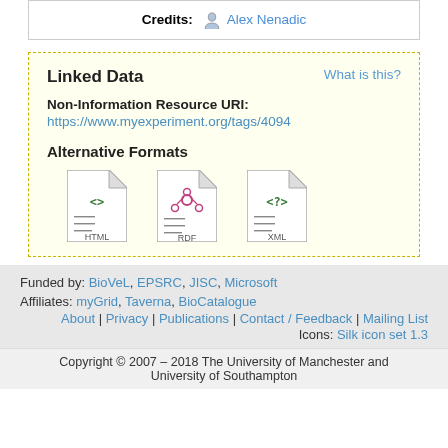Credits: Alex Nenadic
Linked Data
What is this?
Non-Information Resource URI:
https://www.myexperiment.org/tags/4094
Alternative Formats
[Figure (illustration): Three file format icons: HTML, RDF, XML]
Funded by: BioVeL, EPSRC, JISC, Microsoft
Affiliates: myGrid, Taverna, BioCatalogue
About | Privacy | Publications | Contact / Feedback | Mailing List
Icons: Silk icon set 1.3
Copyright © 2007 – 2018 The University of Manchester and University of Southampton